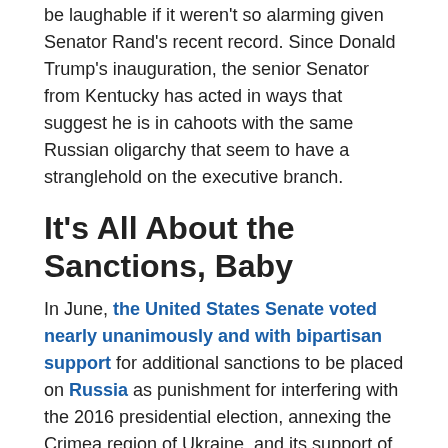be laughable if it weren't so alarming given Senator Rand's recent record. Since Donald Trump's inauguration, the senior Senator from Kentucky has acted in ways that suggest he is in cahoots with the same Russian oligarchy that seem to have a stranglehold on the executive branch.
It's All About the Sanctions, Baby
In June, the United States Senate voted nearly unanimously and with bipartisan support for additional sanctions to be placed on Russia as punishment for interfering with the 2016 presidential election, annexing the Crimea region of Ukraine, and its support of the Syrian government during its ongoing civil war.  Yes, despite the line you might hear them take on Fox News or in the media, even most Republican senators quietly acknowledged the need to respond to what was an obvious attack on American democracy and supported